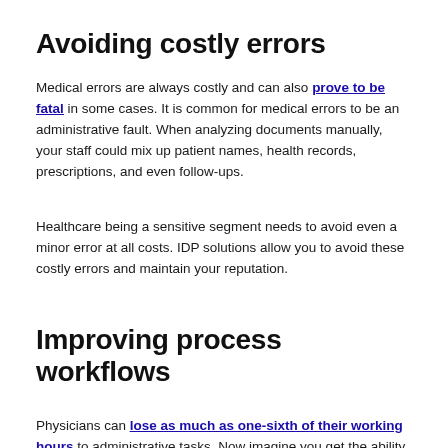Avoiding costly errors
Medical errors are always costly and can also prove to be fatal in some cases. It is common for medical errors to be an administrative fault. When analyzing documents manually, your staff could mix up patient names, health records, prescriptions, and even follow-ups.
Healthcare being a sensitive segment needs to avoid even a minor error at all costs. IDP solutions allow you to avoid these costly errors and maintain your reputation.
Improving process workflows
Physicians can lose as much as one-sixth of their working hours to administrative tasks. Now imagine you get the ability to process documents with greater speed and accuracy, combined with the elimination of manual steps. It means you can improve